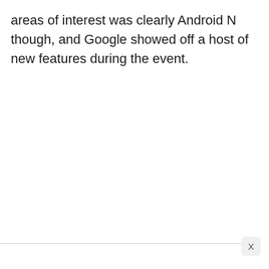areas of interest was clearly Android N though, and Google showed off a host of new features during the event.